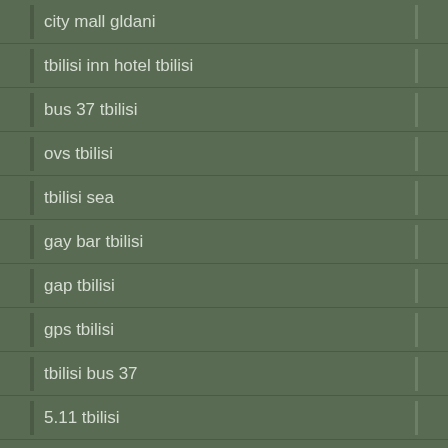city mall gldani
tbilisi inn hotel tbilisi
bus 37 tbilisi
ovs tbilisi
tbilisi sea
gay bar tbilisi
gap tbilisi
gps tbilisi
tbilisi bus 37
5.11 tbilisi